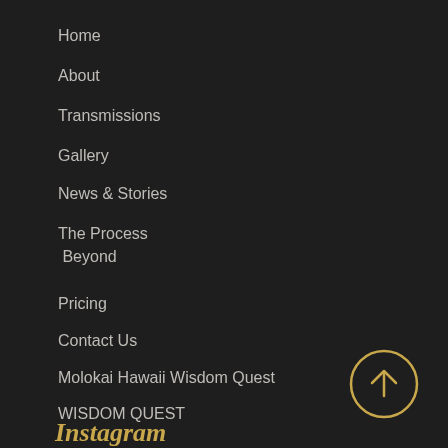Home
About
Transmissions
Gallery
News & Stories
The Process Beyond
Pricing
Contact Us
Molokai Hawaii Wisdom Quest
WISDOM QUEST
[Figure (illustration): Gold circle with upward arrow icon (scroll to top button)]
Instagram